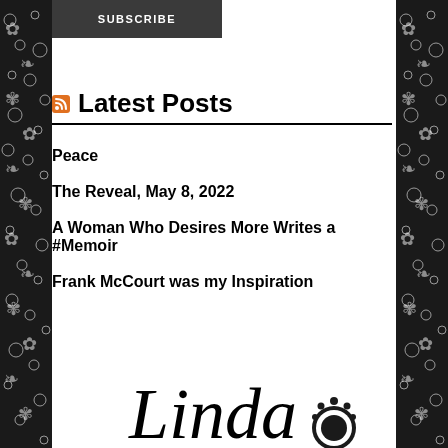[Figure (other): Dark decorative floral/doodle border pattern on left side of page]
[Figure (other): Dark decorative floral/doodle border pattern on right side of page]
[Figure (other): SUBSCRIBE button — dark gray rectangular button with white uppercase text]
Latest Posts
Peace
The Reveal, May 8, 2022
A Woman Who Desires More Writes a #Memoir
Frank McCourt was my Inspiration
[Figure (illustration): Cursive script logo reading 'Linda' with a decorative sun/paw print graphic to the right, black on white, partially cropped at bottom of page]